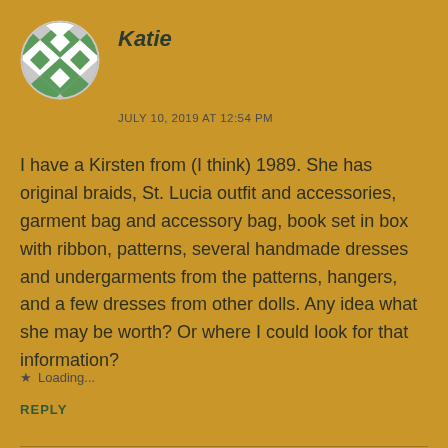[Figure (illustration): Avatar icon: a circular badge with a green and white quilted/diamond pattern design]
Katie
JULY 10, 2019 AT 12:54 PM
I have a Kirsten from (I think) 1989. She has original braids, St. Lucia outfit and accessories, garment bag and accessory bag, book set in box with ribbon, patterns, several handmade dresses and undergarments from the patterns, hangers, and a few dresses from other dolls. Any idea what she may be worth? Or where I could look for that information?
Loading...
REPLY